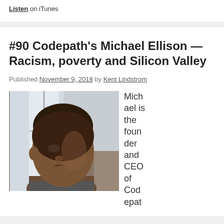Listen on iTunes
#90 Codepath's Michael Ellison — Racism, poverty and Silicon Valley
Published November 9, 2018 by Kent Lindstrom
[Figure (photo): Portrait photo of Michael Ellison, a young Black man photographed in profile/three-quarter view with a bright window background]
Michael is the founder and CEO of Codepat